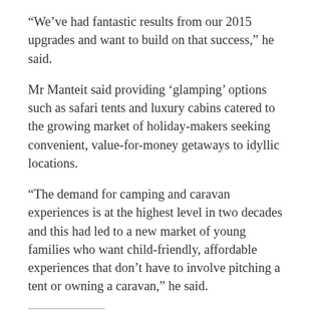“We’ve had fantastic results from our 2015 upgrades and want to build on that success,” he said.
Mr Manteit said providing ‘glamping’ options such as safari tents and luxury cabins catered to the growing market of holiday-makers seeking convenient, value-for-money getaways to idyllic locations.
“The demand for camping and caravan experiences is at the highest level in two decades and this had led to a new market of young families who want child-friendly, affordable experiences that don’t have to involve pitching a tent or owning a caravan,” he said.
Share this:
Twitter   Facebook